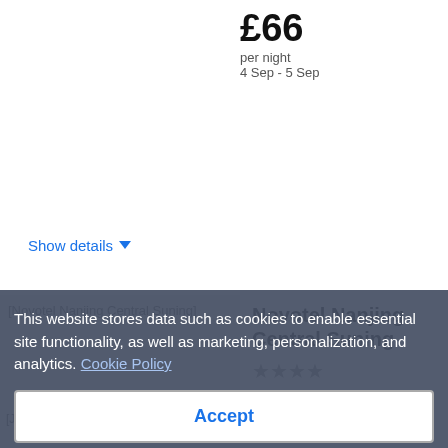£66 per night
4 Sep - 5 Sep
Show details
[Figure (photo): Novotel Nanjing Central Suning hotel image placeholder]
Novotel Nanjing Central Suning
★★★★
No 68 Huaihai Road, Qinghuai District, Nanjing, Jiangsu,...
£58
This website stores data such as cookies to enable essential site functionality, as well as marketing, personalization, and analytics. Cookie Policy
Accept
Deny
Show details
[Figure (photo): Jinling Hotel Nanjing image placeholder]
Jinling Hotel Nanjing